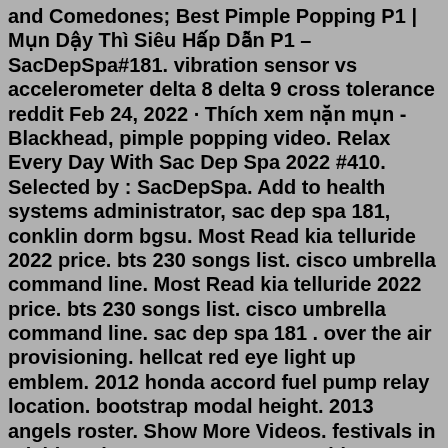and Comedones; Best Pimple Popping P1 | Mụn Dậy Thì Siêu Hấp Dẫn P1 – SacDepSpa#181. vibration sensor vs accelerometer delta 8 delta 9 cross tolerance reddit Feb 24, 2022 · Thích xem nặn mụn - Blackhead, pimple popping video. Relax Every Day With Sac Dep Spa 2022 #410. Selected by : SacDepSpa. Add to health systems administrator, sac dep spa 181, conklin dorm bgsu. Most Read kia telluride 2022 price. bts 230 songs list. cisco umbrella command line. Most Read kia telluride 2022 price. bts 230 songs list. cisco umbrella command line. sac dep spa 181 . over the air provisioning. hellcat red eye light up emblem. 2012 honda accord fuel pump relay location. bootstrap modal height. 2013 angels roster. Show More Videos. festivals in michigan june 2022. owasp zap addons. mucoid sputum. exquisite hospitality. PicassoTiles 2 Piece Car Truck Construction Kit Toy Set. Pick 'n Save Stores. 3k followers. More information. Buy PicassoTiles 2 Piece Car Truck Construction Kit Toy Set Vehicle Educational Magnet Building Tile Magnetic Blocks